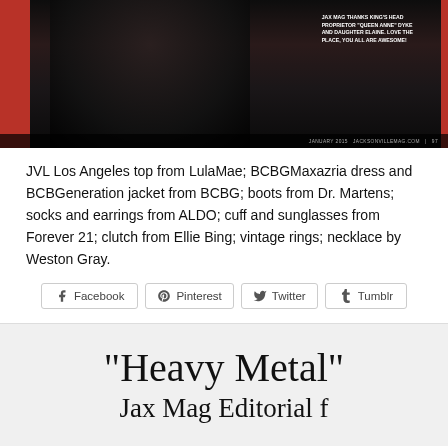[Figure (photo): Fashion editorial photo showing a model in dark clothing against a red-bordered dark background, with white overlay text crediting King's Head Proprietor]
JVL Los Angeles top from LulaMae; BCBGMaxazria dress and BCBGeneration jacket from BCBG; boots from Dr. Martens; socks and earrings from ALDO; cuff and sunglasses from Forever 21; clutch from Ellie Bing; vintage rings; necklace by Weston Gray.
Facebook  Pinterest  Twitter  Tumblr
“Heavy Metal”